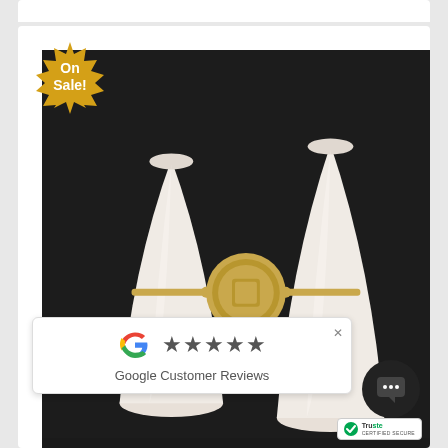[Figure (photo): Wall sconce light fixture with two white cone-shaped shades and brass/gold hardware, mounted on dark background. An 'On Sale!' badge appears in the top left corner.]
[Figure (screenshot): Google Customer Reviews widget showing Google G logo, 5 stars, and text 'Google Customer Reviews' with a close X button.]
Google Customer Reviews
[Figure (logo): TrustedSite Certified Secure badge with green checkmark logo.]